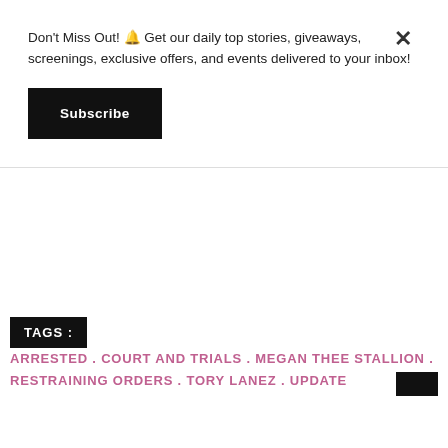Don't Miss Out! 🔔 Get our daily top stories, giveaways, screenings, exclusive offers, and events delivered to your inbox!
Subscribe
TAGS :  ARRESTED . COURT AND TRIALS . MEGAN THEE STALLION . RESTRAINING ORDERS . TORY LANEZ . UPDATE